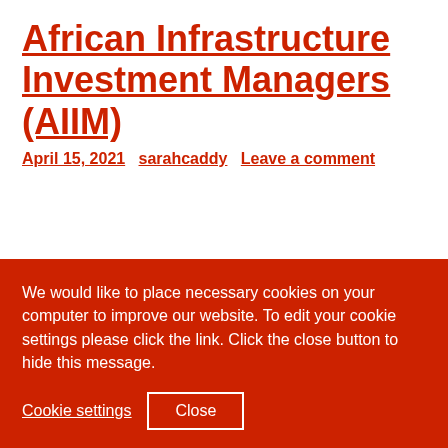African Infrastructure Investment Managers (AIIM)
April 15, 2021  sarahcaddy  Leave a comment
We would like to place necessary cookies on your computer to improve our website. To edit your cookie settings please click the link. Click the close button to hide this message.
Cookie settings   Close